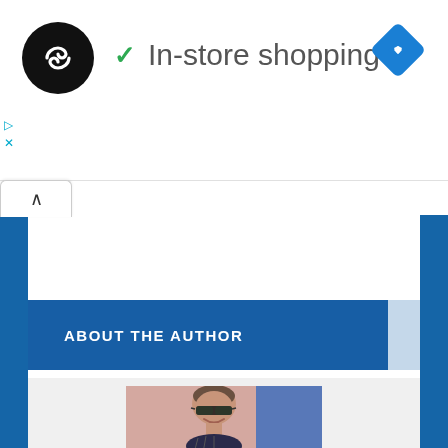[Figure (screenshot): Website header area showing a black circular logo with infinity/loop symbol, green checkmark with 'In-store shopping' text, and a blue diamond navigation icon in the top right. Small cyan ad icons (play and X) below the logo.]
[Figure (other): Collapse/accordion tab button with upward caret (^) arrow]
ABOUT THE AUTHOR
[Figure (photo): Author photo: bald man wearing sunglasses, smiling, with pink/blue background]